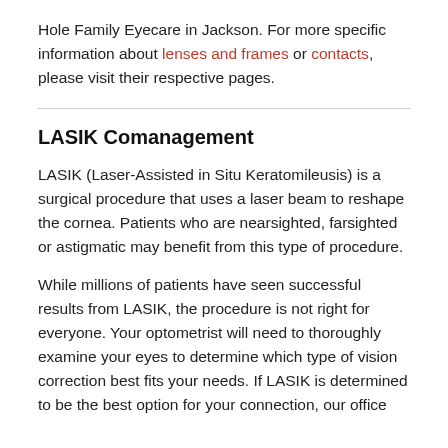Hole Family Eyecare in Jackson. For more specific information about lenses and frames or contacts, please visit their respective pages.
LASIK Comanagement
LASIK (Laser-Assisted in Situ Keratomileusis) is a surgical procedure that uses a laser beam to reshape the cornea. Patients who are nearsighted, farsighted or astigmatic may benefit from this type of procedure.
While millions of patients have seen successful results from LASIK, the procedure is not right for everyone. Your optometrist will need to thoroughly examine your eyes to determine which type of vision correction best fits your needs. If LASIK is determined to be the best option for your connection, our office will be facilitating your care and guidance throughout the process.